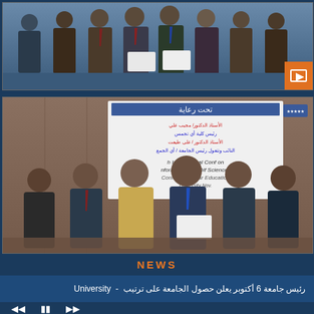[Figure (photo): Group photo of men in suits at a formal ceremony, one holding a document/certificate]
[Figure (photo): Group photo of men in suits at a conference event with Arabic banner in background reading 'تحت رعاية' (Under the patronage)]
NEWS
رئيس جامعة 6 أكتوبر يعلن حصول الجامعة على ترتيب - University
media controls: rewind, pause, fast-forward